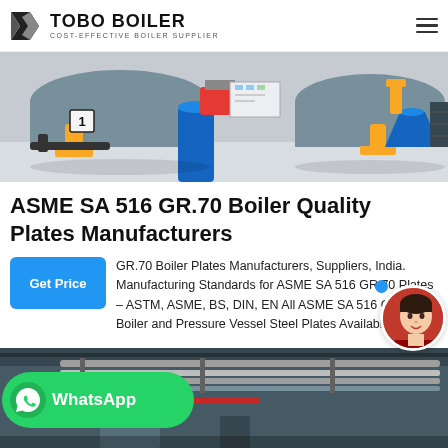TOBO BOILER — COST-EFFECTIVE BOILER SUPPLIER
[Figure (photo): Industrial boilers with blue cylindrical columns, yellow piping, and control panels in a factory setting]
ASME SA 516 GR.70 Boiler Quality Plates Manufacturers
GR.70 Boiler Plates Manufacturers, Suppliers, India. Manufacturing Standards for ASME SA 516 GR.70 Plates – ASTM, ASME, BS, DIN, EN All ASME SA 516 GR.70 Boiler and Pressure Vessel Steel Plates Available Size…
[Figure (photo): Industrial pipe installation inside a large building, showing parallel pipes along the ceiling in a boiler/HVAC facility]